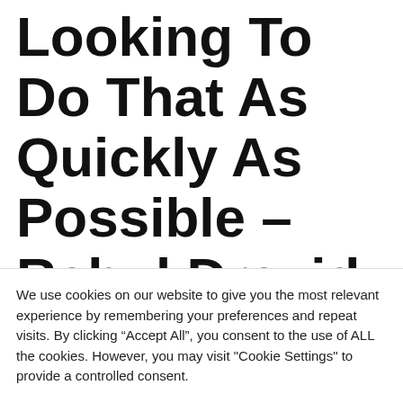Looking To Do That As Quickly As Possible – Rahul Dravid On Finalising India's
We use cookies on our website to give you the most relevant experience by remembering your preferences and repeat visits. By clicking “Accept All”, you consent to the use of ALL the cookies. However, you may visit "Cookie Settings" to provide a controlled consent.